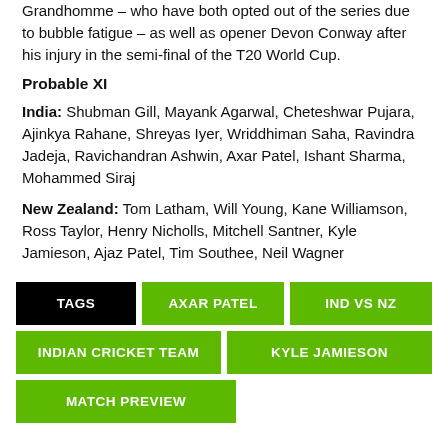Grandhomme – who have both opted out of the series due to bubble fatigue – as well as opener Devon Conway after his injury in the semi-final of the T20 World Cup.
Probable XI
India: Shubman Gill, Mayank Agarwal, Cheteshwar Pujara, Ajinkya Rahane, Shreyas Iyer, Wriddhiman Saha, Ravindra Jadeja, Ravichandran Ashwin, Axar Patel, Ishant Sharma, Mohammed Siraj
New Zealand: Tom Latham, Will Young, Kane Williamson, Ross Taylor, Henry Nicholls, Mitchell Santner, Kyle Jamieson, Ajaz Patel, Tim Southee, Neil Wagner
TAGS | AXAR PATEL | IND VS NZ | INDIAN CRICKET TEAM | KYLE JAMIESON | MATCH PREVIEW